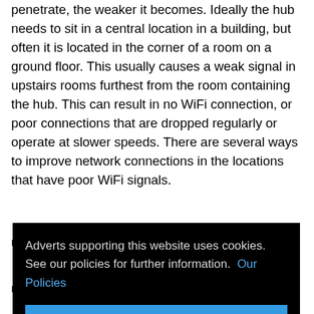penetrate, the weaker it becomes. Ideally the hub needs to sit in a central location in a building, but often it is located in the corner of a room on a ground floor. This usually causes a weak signal in upstairs rooms furthest from the room containing the hub. This can result in no WiFi connection, or poor connections that are dropped regularly or operate at slower speeds. There are several ways to improve network connections in the locations that have poor WiFi signals.
Move the hub to a higher or more central location. Before th... R... in... al... p...
...here a... re is some overlap depending upon how the router is using the
[Figure (other): Cookie/advert consent overlay dialog with black background, text 'Adverts supporting this website uses cookies. See our policies for further information. Our Policies' and a blue 'OK (Close Message)' button]